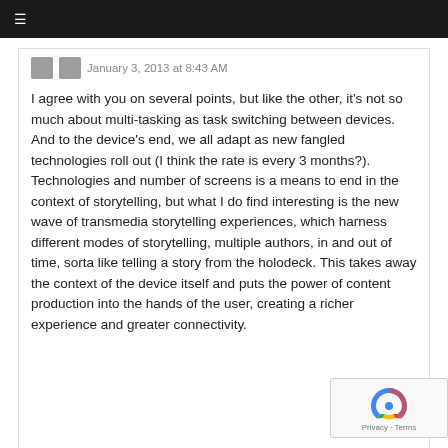≡
January 3, 2013 at 8:43 AM
I agree with you on several points, but like the other, it's not so much about multi-tasking as task switching between devices. And to the device's end, we all adapt as new fangled technologies roll out (I think the rate is every 3 months?). Technologies and number of screens is a means to end in the context of storytelling, but what I do find interesting is the new wave of transmedia storytelling experiences, which harness different modes of storytelling, multiple authors, in and out of time, sorta like telling a story from the holodeck. This takes away the context of the device itself and puts the power of content production into the hands of the user, creating a richer experience and greater connectivity.